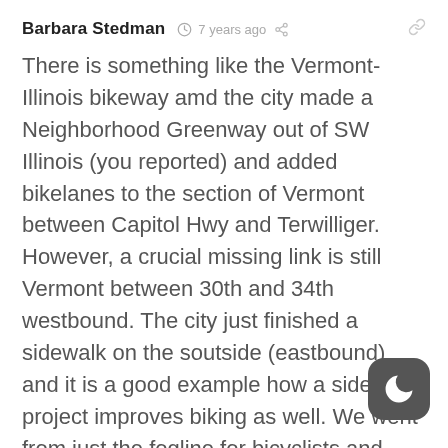Barbara Stedman · 7 years ago
There is something like the Vermont-Illinois bikeway amd the city made a Neighborhood Greenway out of SW Illinois (you reported) and added bikelanes to the section of Vermont between Capitol Hwy and Terwilliger. However, a crucial missing link is still Vermont between 30th and 34th westbound. The city just finished a sidewalk on the soutside (eastbound) and it is a good example how a sidewalk project improves biking as well. We went from just the fogline for bicyclists and goat trail through the brush for pedestrians to a nice wide siewalk and bikelane. Due to money restrictions the